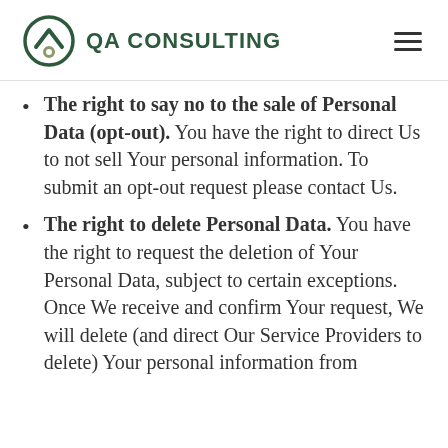QA CONSULTING
The right to say no to the sale of Personal Data (opt-out). You have the right to direct Us to not sell Your personal information. To submit an opt-out request please contact Us.
The right to delete Personal Data. You have the right to request the deletion of Your Personal Data, subject to certain exceptions. Once We receive and confirm Your request, We will delete (and direct Our Service Providers to delete) Your personal information from